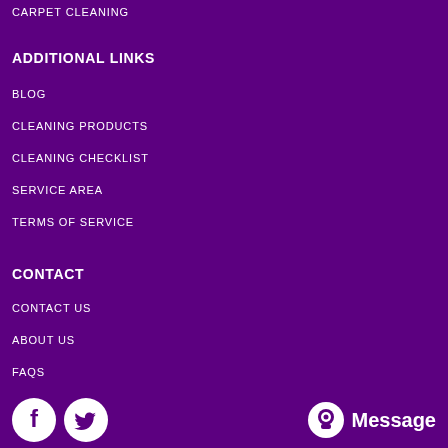CARPET CLEANING
ADDITIONAL LINKS
BLOG
CLEANING PRODUCTS
CLEANING CHECKLIST
SERVICE AREA
TERMS OF SERVICE
CONTACT
CONTACT US
ABOUT US
FAQS
[Figure (logo): Facebook and Twitter social media icons (white circles with white logos on purple background)]
[Figure (infographic): Message widget with alien/chat icon and white 'Message' text]